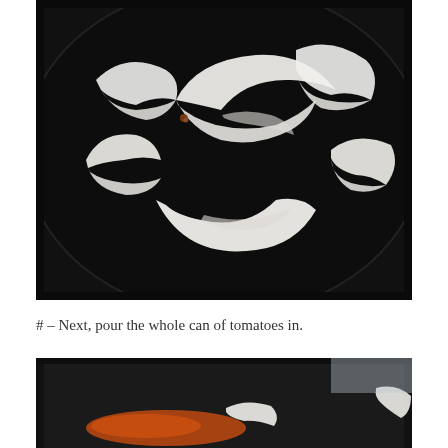[Figure (photo): Close-up photo of sliced white onions cooking in a dark/black frying pan or skillet, viewed from above. The onion slices are white and curved, arranged across the dark pan surface.]
# – Next, pour the whole can of tomatoes in.
[Figure (photo): Partial photo of a dark frying pan with what appears to be onions and tomato sauce/tomatoes being added, viewed from above. Only the top portion of the pan is visible.]